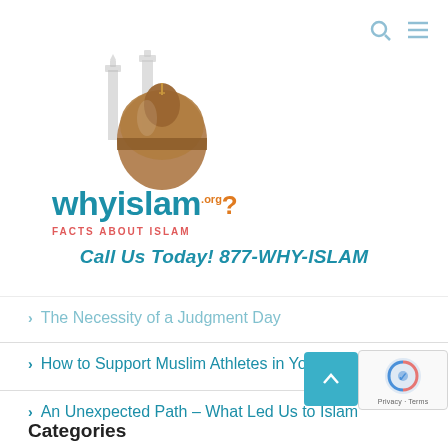[Figure (logo): WhyIslam.org logo with mosque silhouette and tagline FACTS ABOUT ISLAM]
Call Us Today! 877-WHY-ISLAM
The Necessity of a Judgment Day
How to Support Muslim Athletes in Youth Sports
An Unexpected Path – What Led Us to Islam
Categories